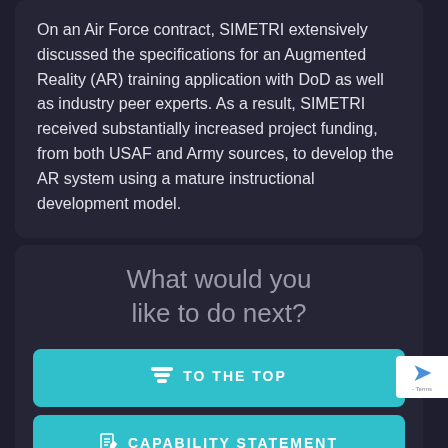On an Air Force contract, SIMETRI extensively discussed the specifications for an Augmented Reality (AR) training application with DoD as well as industry peer experts. As a result, SIMETRI received substantially increased project funding, from both USAF and Army sources, to develop the AR system using a mature instructional development model.
What would you like to do next?
TO THE TOP
CAPABILITY STATEMENT
CONTACT US